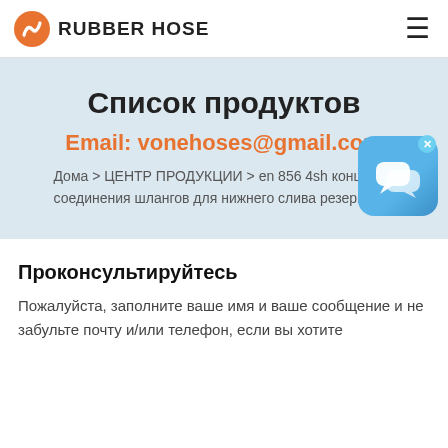RUBBER HOSE
Список продуктов
Email: vonehoses@gmail.com
Дома > ЦЕНТР ПРОДУКЦИИ > en 856 4sh концевые соединения шлангов для нижнего слива резервуара
Проконсультируйтесь
Пожалуйста, заполните ваше имя и ваше сообщение и не забульте почту и/или телефон, если вы хотите